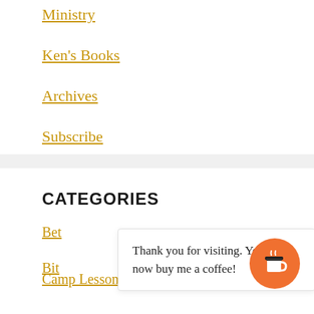Ministry
Ken's Books
Archives
Subscribe
CATEGORIES
Bet
Bit
Camp Lessons
Thank you for visiting. You can now buy me a coffee!